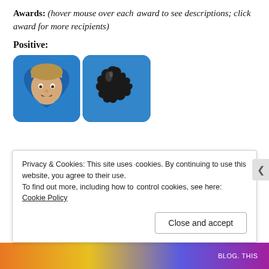Awards: (hover mouse over each award to see descriptions; click award for more recipients)
Positive:
[Figure (illustration): Two award icons side by side: left icon shows a cartoon face in a heart shape on blue background; right icon shows a black ink blot figure on blue background.]
Privacy & Cookies: This site uses cookies. By continuing to use this website, you agree to their use. To find out more, including how to control cookies, see here: Cookie Policy